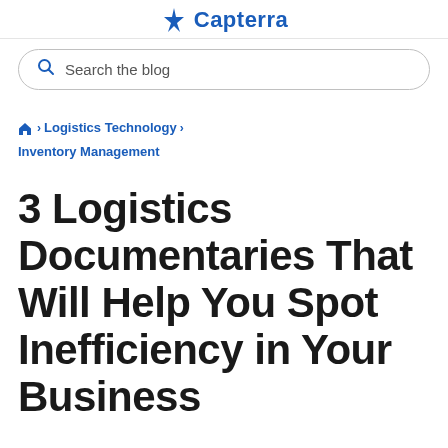Capterra
Search the blog
🏠 > Logistics Technology > Inventory Management
3 Logistics Documentaries That Will Help You Spot Inefficiency in Your Business